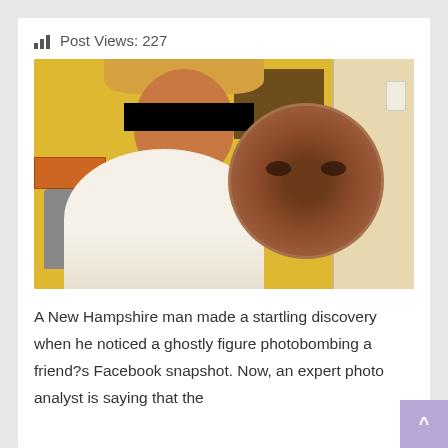Post Views: 227
[Figure (photo): Photo of a smiling blonde woman with a black bar over her eyes, and beside her a blurred circular-cropped face of another person (the alleged ghost). Yellow wall background, door on right, trash can on left.]
A New Hampshire man made a startling discovery when he noticed a ghostly figure photobombing a friend?s Facebook snapshot. Now, an expert photo analyst is saying that the